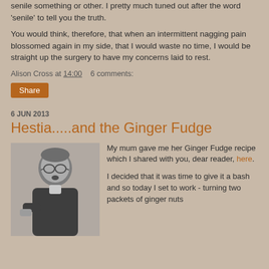senile something or other. I pretty much tuned out after the word 'senile' to tell you the truth.
You would think, therefore, that when an intermittent nagging pain blossomed again in my side, that I would waste no time, I would be straight up the surgery to have my concerns laid to rest.
Alison Cross at 14:00    6 comments:
Share
6 JUN 2013
Hestia.....and the Ginger Fudge
[Figure (photo): Black and white photo of a young boy wearing glasses and a dark jacket, appearing surprised or distressed, possibly holding something]
My mum gave me her Ginger Fudge recipe which I shared with you, dear reader, here.
I decided that it was time to give it a bash and so today I set to work - turning two packets of ginger nuts